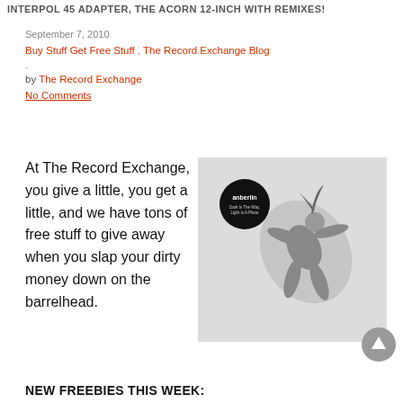INTERPOL 45 ADAPTER, THE ACORN 12-INCH WITH REMIXES!
September 7, 2010
Buy Stuff Get Free Stuff , The Record Exchange Blog
-
by The Record Exchange
No Comments
At The Record Exchange, you give a little, you get a little, and we have tons of free stuff to give away when you slap your dirty money down on the barrelhead.
[Figure (photo): Album cover for Anberlin 'Dark Is The Way, Light Is A Place' showing a figure falling or floating against a light grey background, with a circular black logo in the upper left corner.]
NEW FREEBIES THIS WEEK: